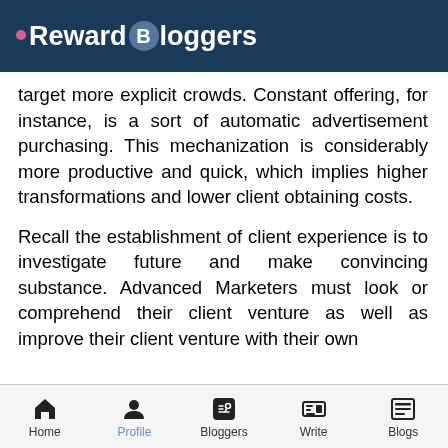Reward Bloggers
target more explicit crowds. Constant offering, for instance, is a sort of automatic advertisement purchasing. This mechanization is considerably more productive and quick, which implies higher transformations and lower client obtaining costs.
Recall the establishment of client experience is to investigate future and make convincing substance. Advanced Marketers must look or comprehend their client venture as well as improve their client venture with their own
Home | Profile | Bloggers | Write | Blogs